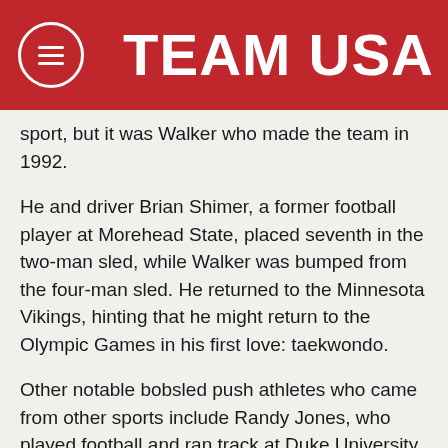TEAM USA
sport, but it was Walker who made the team in 1992.
He and driver Brian Shimer, a former football player at Morehead State, placed seventh in the two-man sled, while Walker was bumped from the four-man sled. He returned to the Minnesota Vikings, hinting that he might return to the Olympic Games in his first love: taekwondo.
Other notable bobsled push athletes who came from other sports include Randy Jones, who played football and ran track at Duke University. He competed at the Olympic Winter Games in 1994, 1998 and 2002, winning a bronze medal with driver Todd Hays in the four-man sled in Salt Lake City. That broke a 46-year U.S. medal drought in men's bobsled. And then there's Chip Minton, a bodybuilder and prison guard who is also known for